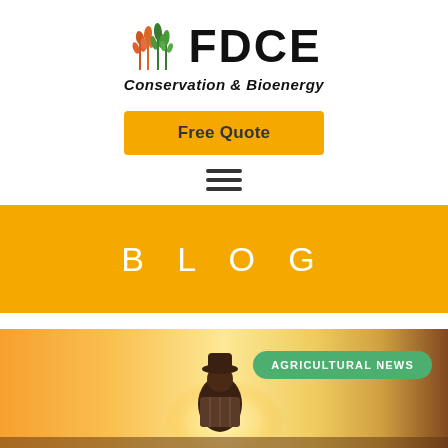[Figure (logo): FDCE Conservation & Bioenergy logo with wheat/plant icon and bold FDCE text]
Free Quote
[Figure (other): Hamburger menu icon (three horizontal lines)]
BLOG
[Figure (photo): Photo of a person (farmer) viewed from behind against a golden sunset sky, with an 'AGRICULTURAL NEWS' green badge overlay]